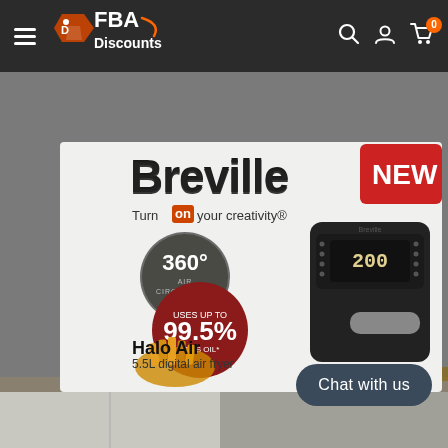FBA Discounts navigation bar with hamburger menu, logo, search, account, and cart icons
[Figure (photo): Breville Halo Air 5.5L digital air fryer product box showing the appliance, brand name, 360° air circulation badge, 99.5% less oil claim, and product name on a shelf]
Chat with us